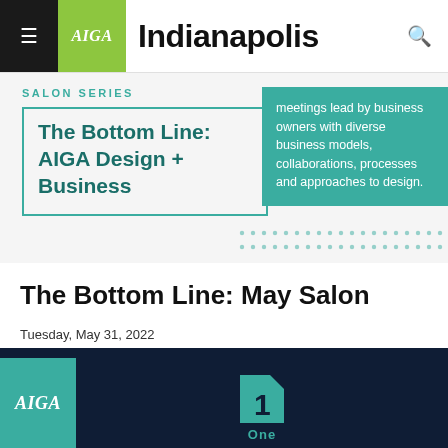AIGA Indianapolis
[Figure (illustration): AIGA Indianapolis Salon Series promotional banner. Teal text 'SALON SERIES' label, bordered box with bold teal text 'The Bottom Line: AIGA Design + Business', teal background box with white text 'meetings lead by business owners with diverse business models, collaborations, processes and approaches to design.' Dot pattern decoration on right side.]
The Bottom Line: May Salon
Tuesday, May 31, 2022
4:30 PM - 5:30 PM EDT
[Figure (logo): Dark navy background with AIGA logo in teal box on left, teal number 1 icon in center with 'One' text below in teal, partially visible.]